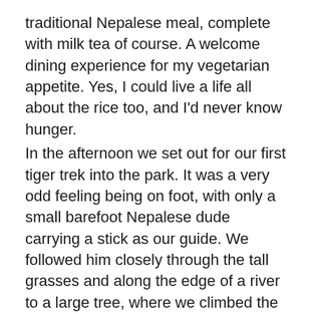traditional Nepalese meal, complete with milk tea of course. A welcome dining experience for my vegetarian appetite. Yes, I could live a life all about the rice too, and I'd never know hunger. In the afternoon we set out for our first tiger trek into the park. It was a very odd feeling being on foot, with only a small barefoot Nepalese dude carrying a stick as our guide. We followed him closely through the tall grasses and along the edge of a river to a large tree, where we climbed the branches and watched and waited for a tiger to appear. It didn't. But the excitement lingered in the air, as did the scent, the strong fresh unmistakable scent of Tiger. Anyone who has visited a zoo knows what I'm talking about, only there were no cages, no barriers, no signs to read. Just that familiar pungent smell of the big cats. We crept through the tall grasses and along the river bank following fresh tiger tracks. Fresh, as in today, this morning, just hours, maybe even only minutes ago.